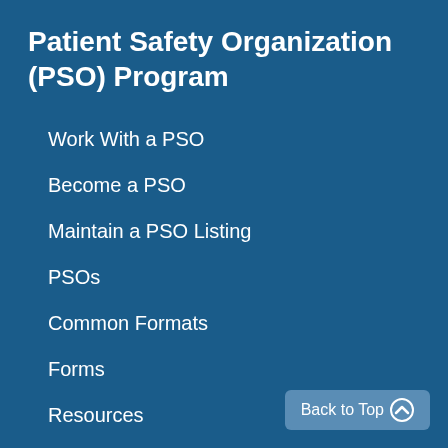Patient Safety Organization (PSO) Program
Work With a PSO
Become a PSO
Maintain a PSO Listing
PSOs
Common Formats
Forms
Resources